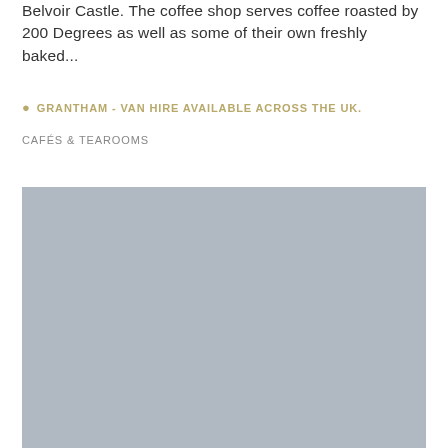Belvoir Castle. The coffee shop serves coffee roasted by 200 Degrees as well as some of their own freshly baked...
📍 GRANTHAM - VAN HIRE AVAILABLE ACROSS THE UK.
CAFÉS & TEAROOMS
[Figure (photo): A large grey/silver rectangular image placeholder, likely a photo of a café or tearoom location.]